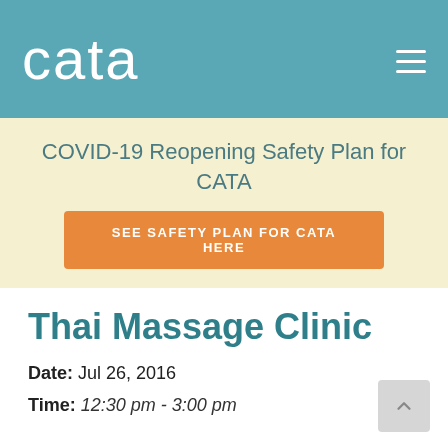cata
COVID-19 Reopening Safety Plan for CATA
SEE SAFETY PLAN FOR CATA HERE
Thai Massage Clinic
Date: Jul 26, 2016
Time: 12:30 pm - 3:00 pm